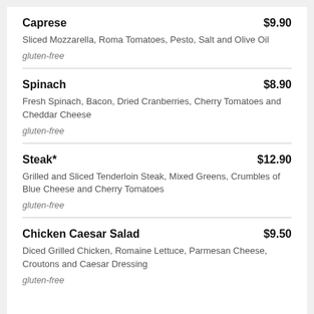Caprese $9.90 — Sliced Mozzarella, Roma Tomatoes, Pesto, Salt and Olive Oil — gluten-free
Spinach $8.90 — Fresh Spinach, Bacon, Dried Cranberries, Cherry Tomatoes and Cheddar Cheese — gluten-free
Steak* $12.90 — Grilled and Sliced Tenderloin Steak, Mixed Greens, Crumbles of Blue Cheese and Cherry Tomatoes — gluten-free
Chicken Caesar Salad $9.50 — Diced Grilled Chicken, Romaine Lettuce, Parmesan Cheese, Croutons and Caesar Dressing — gluten-free